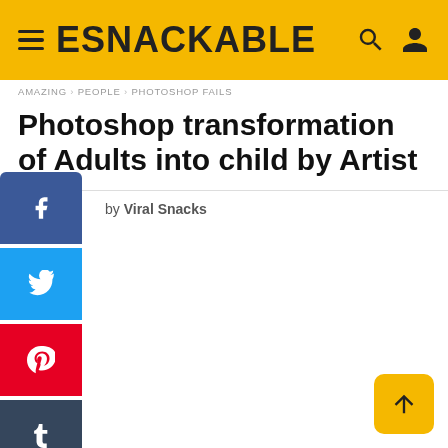ESNACKABLE
AMAZING  PEOPLE  PHOTOSHOP FAILS
Photoshop transformation of Adults into child by Artist
by Viral Snacks
[Figure (infographic): Social media share buttons column: Facebook (blue), Twitter (light blue), Pinterest (red), Tumblr (dark navy), Reddit (dark gray), Pocket (red)]
[Figure (infographic): Back to top button, gold/yellow square with upward arrow]